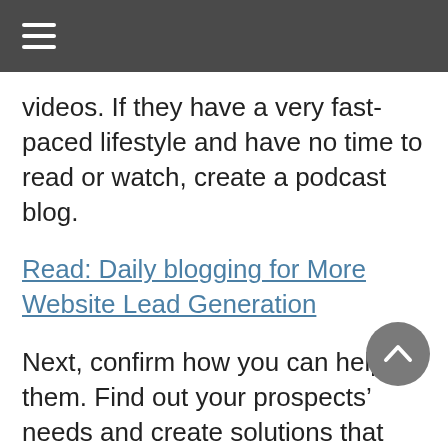☰
videos. If they have a very fast-paced lifestyle and have no time to read or watch, create a podcast blog.
Read: Daily blogging for More Website Lead Generation
Next, confirm how you can help them. Find out your prospects' needs and create solutions that they can easily follow.
Don't forget that if you do onsite optimization for the main pages of your